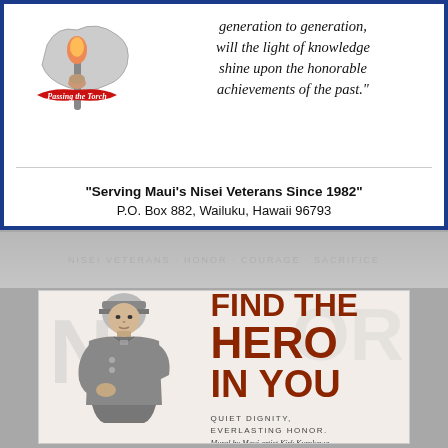[Figure (logo): Passing the Torch logo — a hand holding a torch with a red ribbon banner reading 'Passing the Torch', silhouette of Hawaii islands in background]
generation to generation, will the light of knowledge shine upon the honorable achievements of the past."
"Serving Maui's Nisei Veterans Since 1982"
P.O. Box 882, Wailuku, Hawaii 96793
[Figure (photo): Faded background collage of historical photos and text related to Nisei veterans]
[Figure (illustration): Mural by Maui artist Kirk Kurokawa — grayscale illustration of a Japanese American WWII soldier in uniform, seated/posed, looking forward]
FIND THE HERO IN YOU
QUIET DIGNITY, EVERLASTING HONOR.
Mural by Maui artist Kirk Kurokawa